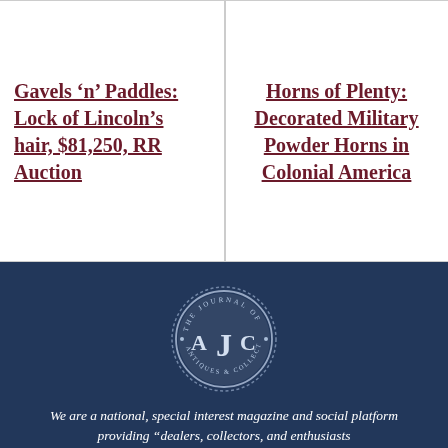Gavels ‘n’ Paddles: Lock of Lincoln’s hair, $81,250, RR Auction
Horns of Plenty: Decorated Military Powder Horns in Colonial America
[Figure (logo): The Journal of Antiques & Collectibles (AJC) circular badge logo with serif lettering on a dark navy background]
We are a national, special interest magazine and social platform providing “dealers, collectors, and enthusiasts